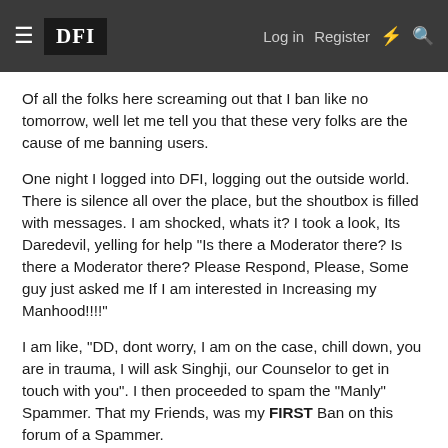DFI | Log in | Register
Of all the folks here screaming out that I ban like no tomorrow, well let me tell you that these very folks are the cause of me banning users.
One night I logged into DFI, logging out the outside world. There is silence all over the place, but the shoutbox is filled with messages. I am shocked, whats it? I took a look, Its Daredevil, yelling for help "Is there a Moderator there? Is there a Moderator there? Please Respond, Please, Some guy just asked me If I am interested in Increasing my Manhood!!!!"
I am like, "DD, dont worry, I am on the case, chill down, you are in trauma, I will ask Singhji, our Counselor to get in touch with you". I then proceeded to spam the "Manly" Spammer. That my Friends, was my FIRST Ban on this forum of a Spammer.
Then On, I decided to be the Night Crusader, the one man army mowing down Spammers and Trolls. The Lazarous Man of